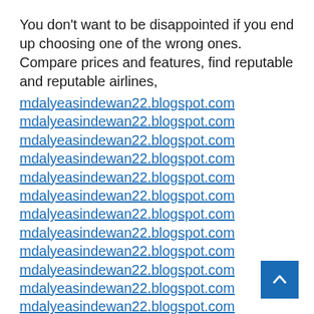You don't want to be disappointed if you end up choosing one of the wrong ones. Compare prices and features, find reputable and reputable airlines,
mdalyeasindewan22.blogspot.com
mdalyeasindewan22.blogspot.com
mdalyeasindewan22.blogspot.com
mdalyeasindewan22.blogspot.com
mdalyeasindewan22.blogspot.com
mdalyeasindewan22.blogspot.com
mdalyeasindewan22.blogspot.com
mdalyeasindewan22.blogspot.com
mdalyeasindewan22.blogspot.com
mdalyeasindewan22.blogspot.com
mdalyeasindewan22.blogspot.com
mdalyeasindewan22.blogspot.com
mdalyeasindewan22.blogspot.com
mdalyeasindewan22.blogspot.com (partial)